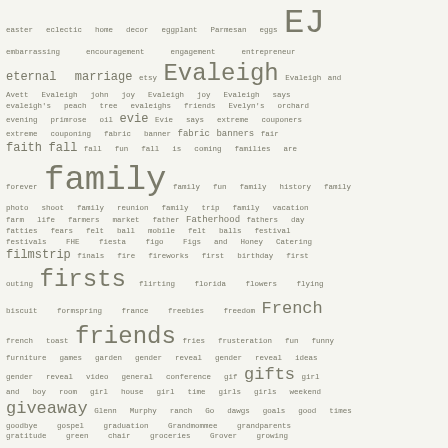[Figure (infographic): Tag cloud / word cloud showing blog or website tags alphabetically from 'easter' through 'growing', with words sized according to frequency/importance. Displayed in monospace font on a light beige background.]